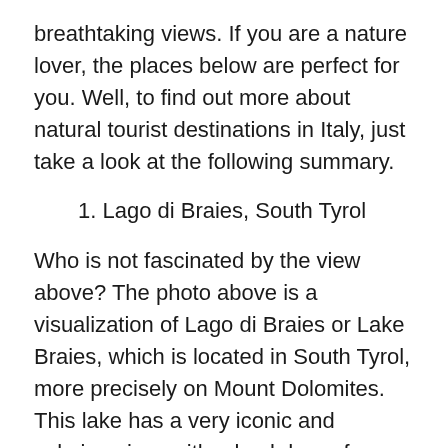breathtaking views. If you are a nature lover, the places below are perfect for you. Well, to find out more about natural tourist destinations in Italy, just take a look at the following summary.
1. Lago di Braies, South Tyrol
Who is not fascinated by the view above? The photo above is a visualization of Lago di Braies or Lake Braies, which is located in South Tyrol, more precisely on Mount Dolomites. This lake has a very iconic and calming view, with a backdrop of majestic high mountains, a stretch of green pine forest, and a stretch of blue lake water.
As reported by Love Hard, Travel Often